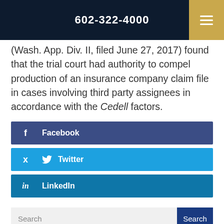602-322-4000
(Wash. App. Div. II, filed June 27, 2017) found that the trial court had authority to compel production of an insurance company claim file in cases involving third party assignees in accordance with the Cedell factors.
Facebook
Twitter
LinkedIn
Search